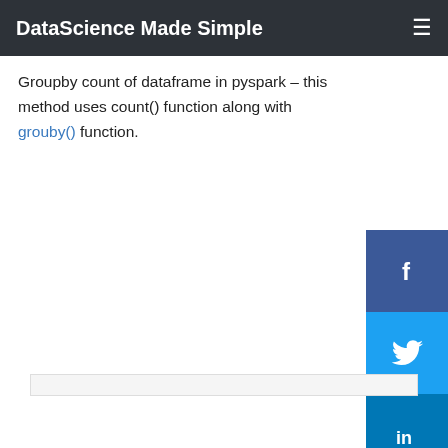DataScience Made Simple
Groupby count of dataframe in pyspark – this method uses count() function along with grouby() function.
[Figure (infographic): Social media sharing sidebar with Facebook, Twitter, LinkedIn, Pinterest, and Reddit buttons]
[Figure (screenshot): Empty code/content box at bottom of page]